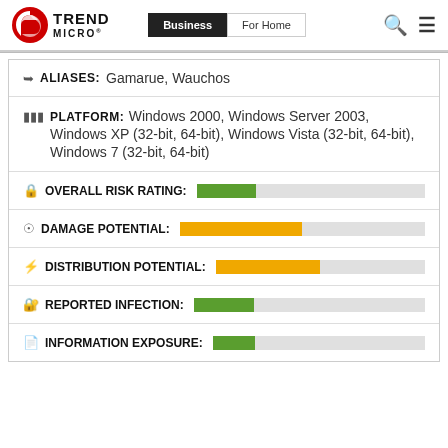[Figure (logo): Trend Micro logo with red circular icon and TREND MICRO text]
Business | For Home
ALIASES: Gamarue, Wauchos
PLATFORM: Windows 2000, Windows Server 2003, Windows XP (32-bit, 64-bit), Windows Vista (32-bit, 64-bit), Windows 7 (32-bit, 64-bit)
OVERALL RISK RATING:
[Figure (infographic): Green progress bar approximately 25% filled for Overall Risk Rating]
DAMAGE POTENTIAL:
[Figure (infographic): Orange progress bar approximately 50% filled for Damage Potential]
DISTRIBUTION POTENTIAL:
[Figure (infographic): Orange progress bar approximately 50% filled for Distribution Potential]
REPORTED INFECTION:
[Figure (infographic): Green progress bar approximately 25% filled for Reported Infection]
INFORMATION EXPOSURE:
[Figure (infographic): Green progress bar approximately 20% filled for Information Exposure]